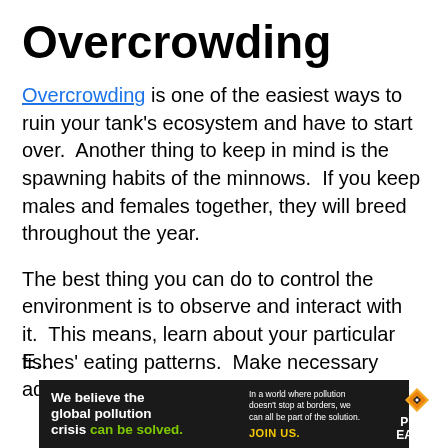Overcrowding
Overcrowding is one of the easiest ways to ruin your tank’s ecosystem and have to start over. Another thing to keep in mind is the spawning habits of the minnows. If you keep males and females together, they will breed throughout the year.
The best thing you can do to control the environment is to observe and interact with it. This means, learn about your particular fishes’ eating patterns. Make necessary adjustments as you see fit.
E…
[Figure (infographic): Advertisement banner for Pure Earth. Black background. Left section: 'We believe the global pollution crisis can be solved.' (can be solved in green). Middle section: 'In a world where pollution doesn’t stop at borders, we can all be part of the solution.' and 'JOIN US.' in yellow. Right section: Pure Earth logo (orange/yellow diamond with arrow) and 'PURE EARTH' in white bold text.]